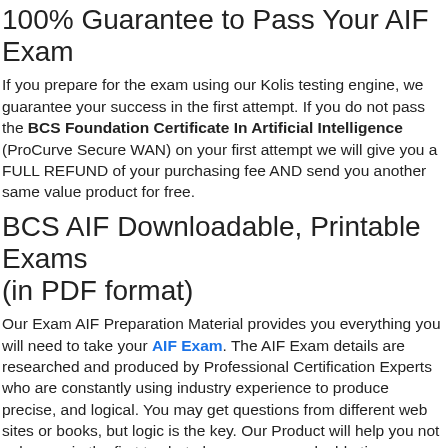100% Guarantee to Pass Your AIF Exam
If you prepare for the exam using our Kolis testing engine, we guarantee your success in the first attempt. If you do not pass the BCS Foundation Certificate In Artificial Intelligence (ProCurve Secure WAN) on your first attempt we will give you a FULL REFUND of your purchasing fee AND send you another same value product for free.
BCS AIF Downloadable, Printable Exams (in PDF format)
Our Exam AIF Preparation Material provides you everything you will need to take your AIF Exam. The AIF Exam details are researched and produced by Professional Certification Experts who are constantly using industry experience to produce precise, and logical. You may get questions from different web sites or books, but logic is the key. Our Product will help you not only pass in the first try, but also save your valuable time.